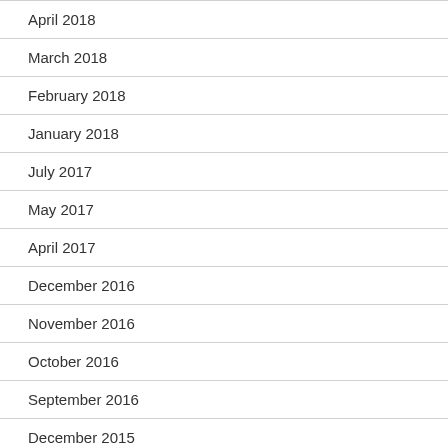April 2018
March 2018
February 2018
January 2018
July 2017
May 2017
April 2017
December 2016
November 2016
October 2016
September 2016
December 2015
December 2013